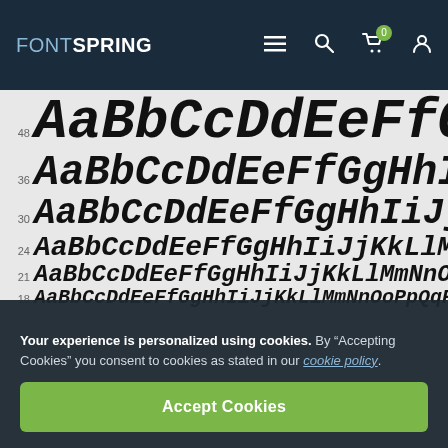FONTSPRING navigation bar with logo, menu, search, cart (0), and account icons
[Figure (illustration): Font preview panel showing italic bold serif/slab typeface at multiple sizes: 48pt AaBbCcDdEeFfG..., 36pt AaBbCcDdEeFfGgHhIi..., 30pt AaBbCcDdEeFfGgHhIiJjKk..., 24pt AaBbCcDdEeFfGgHhIiJjKkLlMm..., 21pt AaBbCcDdEeFfGgHhIiJjKkLlMmNnOo..., 18pt AaBbCcDdEeFfGgHhIiJjKkLlMmNnOoPpQqR...]
Your experience is personalized using cookies. By “Accepting Cookies” you consent to cookies as stated in our cookie policy.
Accept Cookies